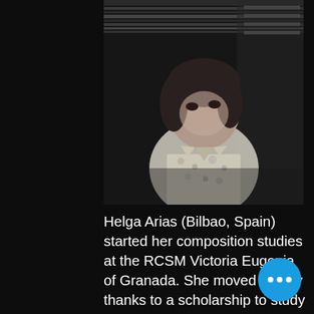[Figure (photo): Black and white portrait photo of a young woman with short dark hair, wearing a floral sleeveless blouse, looking upward, photographed against a dark background with horizontal lines/blinds.]
Helga Arias (Bilbao, Spain) started her composition studies at the RCSM Victoria Eugenia of Granada. She moved to Italy thanks to a scholarship to study composition with Mario Garuti and Javier Torres Maldonado at the Conservatorio G. Verdi of Milan and then went to Parma, to continue her studies in composition and computer music with Torres Maldonado. Between 2014 and 2016 she continued her education in Austria thanks to a scholarship of the SGAE (Spanish General